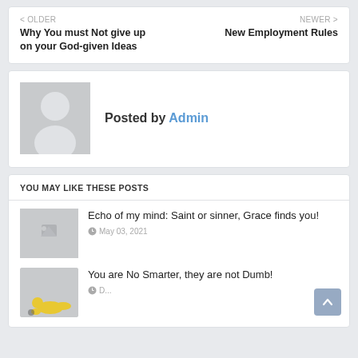< OLDER
Why You must Not give up on your God-given Ideas
NEWER >
New Employment Rules
Posted by Admin
YOU MAY LIKE THESE POSTS
Echo of my mind: Saint or sinner, Grace finds you!
May 03, 2021
You are No Smarter, they are not Dumb!